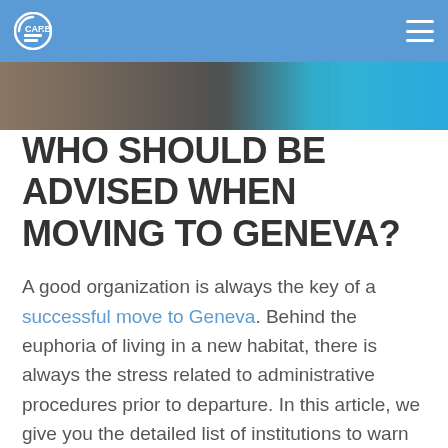CARBONIED
[Figure (photo): Partial photo strip showing a dark object on the left and a cyan/blue area on the right, cropped at top of page content]
WHO SHOULD BE ADVISED WHEN MOVING TO GENEVA?
A good organization is always the key of a successful move to Geneva. Behind the euphoria of living in a new habitat, there is always the stress related to administrative procedures prior to departure. In this article, we give you the detailed list of institutions to warn when you move to Geneva. Please note that we have not included the mover in this list. This point being crucial, we will devote another article to it.
Inform the Civil Registry about the move